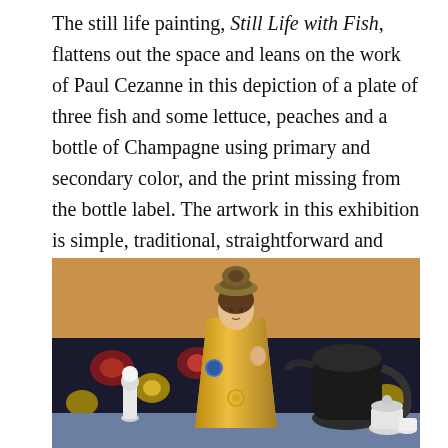The still life painting, Still Life with Fish, flattens out the space and leans on the work of Paul Cezanne in this depiction of a plate of three fish and some lettuce, peaches and a bottle of Champagne using primary and secondary color, and the print missing from the bottle label. The artwork in this exhibition is simple, traditional, straightforward and personal.
[Figure (photo): A painting depicting a religious figurine (Infant of Prague or similar) dressed in golden robes, wearing a crown, set against a dark floral patterned fabric background with warm orange-ochre wall behind. On either side are ceramic and pottery objects including a dark jug on the right and a white figurine on the left.]